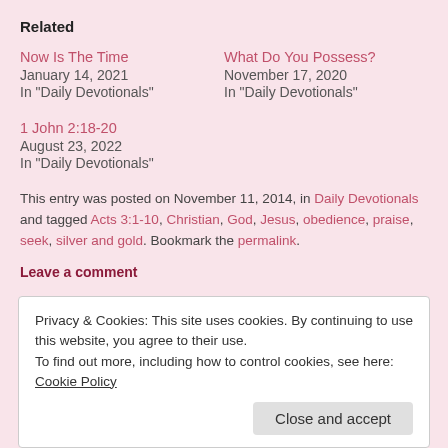Related
Now Is The Time
January 14, 2021
In "Daily Devotionals"
What Do You Possess?
November 17, 2020
In "Daily Devotionals"
1 John 2:18-20
August 23, 2022
In "Daily Devotionals"
This entry was posted on November 11, 2014, in Daily Devotionals and tagged Acts 3:1-10, Christian, God, Jesus, obedience, praise, seek, silver and gold. Bookmark the permalink.
Leave a comment
Privacy & Cookies: This site uses cookies. By continuing to use this website, you agree to their use.
To find out more, including how to control cookies, see here: Cookie Policy
Close and accept